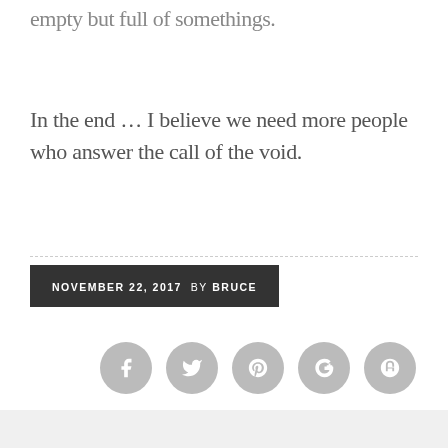empty but full of somethings.
In the end … I believe we need more people who answer the call of the void.
NOVEMBER 22, 2017  BY BRUCE
[Figure (infographic): Row of five social sharing icon circles (Facebook, Twitter, Pinterest, Google+, StumbleUpon) in light gray]